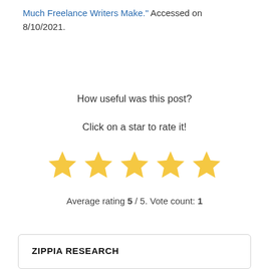Much Freelance Writers Make." Accessed on 8/10/2021.
How useful was this post?
Click on a star to rate it!
[Figure (other): Five gold stars rating widget]
Average rating 5 / 5. Vote count: 1
ZIPPIA RESEARCH